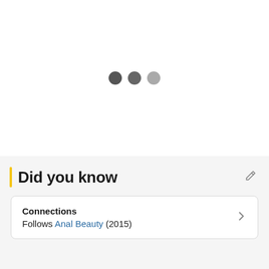[Figure (other): Three dots pagination indicator: two dark gray dots and one lighter gray dot, centered on a white background]
Did you know
Connections
Follows Anal Beauty (2015)